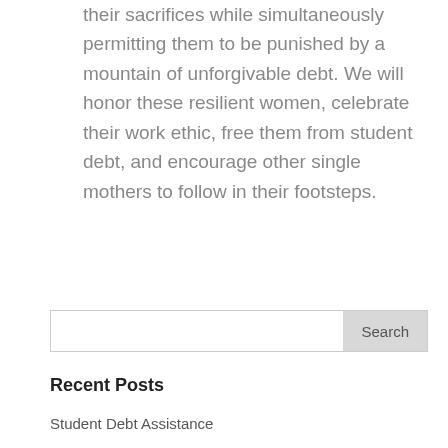their sacrifices while simultaneously permitting them to be punished by a mountain of unforgivable debt. We will honor these resilient women, celebrate their work ethic, free them from student debt, and encourage other single mothers to follow in their footsteps.
Search
Recent Posts
Student Debt Assistance